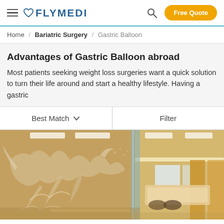FLYMEDI — Free Quote
Home / Bariatric Surgery / Gastric Balloon
Advantages of Gastric Balloon abroad
Most patients seeking weight loss surgeries want a quick solution to turn their life around and start a healthy lifestyle. Having a gastric
Best Match   Filter
[Figure (photo): Interior of a modern hospital lobby with decorative wall art featuring a bird-like mural in gold/beige tones, glass partitions, recessed ceiling lights, and a reception area in the background.]